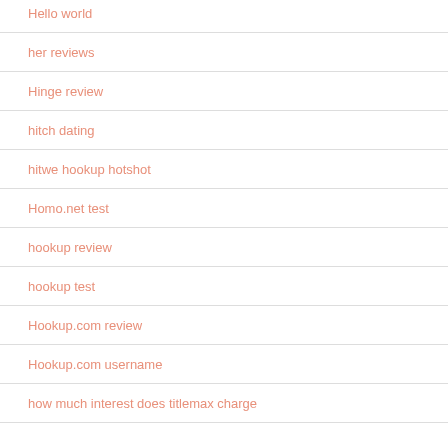Hello world
her reviews
Hinge review
hitch dating
hitwe hookup hotshot
Homo.net test
hookup review
hookup test
Hookup.com review
Hookup.com username
how much interest does titlemax charge